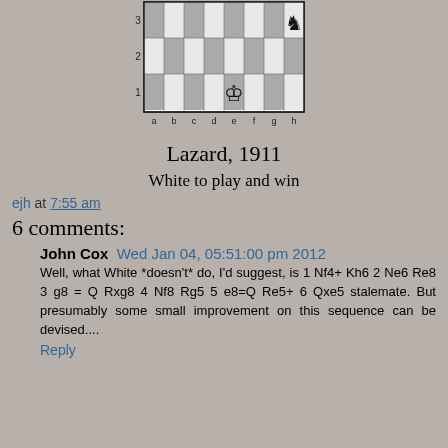[Figure (other): Chess board diagram showing a position with White King on e1 and Black Knight on h3, rows 1-3 visible, columns a-h labeled]
Lazard, 1911
White to play and win
ejh at 7:55 am
6 comments:
John Cox  Wed Jan 04, 05:51:00 pm 2012
Well, what White *doesn't* do, I'd suggest, is 1 Nf4+ Kh6 2 Ne6 Re8 3 g8 = Q Rxg8 4 Nf8 Rg5 5 e8=Q Re5+ 6 Qxe5 stalemate. But presumably some small improvement on this sequence can be devised....
Reply